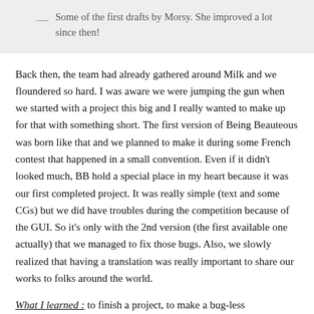— Some of the first drafts by Morsy. She improved a lot since then!
Back then, the team had already gathered around Milk and we floundered so hard. I was aware we were jumping the gun when we started with a project this big and I really wanted to make up for that with something short. The first version of Being Beauteous was born like that and we planned to make it during some French contest that happened in a small convention. Even if it didn't looked much, BB hold a special place in my heart because it was our first completed project. It was really simple (text and some CGs) but we did have troubles during the competition because of the GUI. So it's only with the 2nd version (the first available one actually) that we managed to fix those bugs. Also, we slowly realized that having a translation was really important to share our works to folks around the world.
What I learned : to finish a project, to make a bug-less